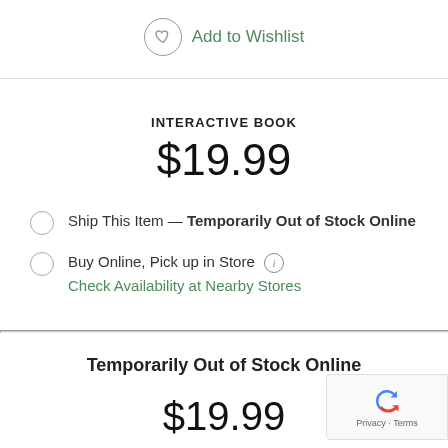Add to Wishlist
INTERACTIVE BOOK
$19.99
Ship This Item — Temporarily Out of Stock Online
Buy Online, Pick up in Store
Check Availability at Nearby Stores
Temporarily Out of Stock Online
$19.99
Privacy · Terms